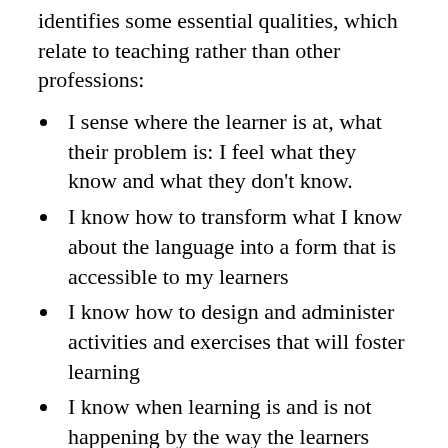identifies some essential qualities, which relate to teaching rather than other professions:
I sense where the learner is at, what their problem is: I feel what they know and what they don't know.
I know how to transform what I know about the language into a form that is accessible to my learners
I know how to design and administer activities and exercises that will foster learning
I know when learning is and is not happening by the way the learners behave: I don't need tests
I get my 'buzz' from when the students